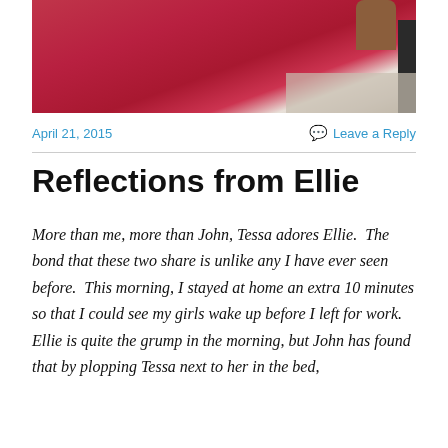[Figure (photo): Close-up photo of a person wearing a red/magenta shirt, with a chair leg visible in the background on a light floor.]
April 21, 2015    Leave a Reply
Reflections from Ellie
More than me, more than John, Tessa adores Ellie.  The bond that these two share is unlike any I have ever seen before.  This morning, I stayed at home an extra 10 minutes so that I could see my girls wake up before I left for work.  Ellie is quite the grump in the morning, but John has found that by plopping Tessa next to her in the bed,